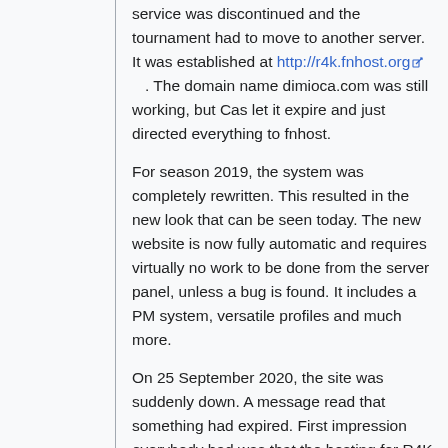service was discontinued and the tournament had to move to another server. It was established at http://r4k.fnhost.org. The domain name dimioca.com was still working, but Cas let it expire and just directed everything to fnhost.
For season 2019, the system was completely rewritten. This resulted in the new look that can be seen today. The new website is now fully automatic and requires virtually no work to be done from the server panel, unless a bug is found. It includes a PM system, versatile profiles and much more.
On 25 September 2020, the site was suddenly down. A message read that something had expired. First impression everybody had was that the hosting for R4K had expired, but after a close look, it was clear that the server...